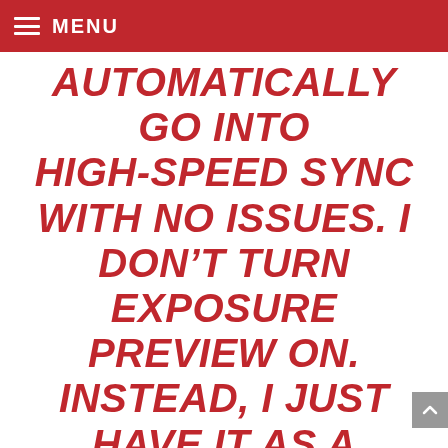MENU
AUTOMATICALLY GO INTO HIGH-SPEED SYNC WITH NO ISSUES. I DON’T TURN EXPOSURE PREVIEW ON. INSTEAD, I JUST HAVE IT AS A CONSTANT SETTING. WITH THAT SAID, I EXPOSE BY READING THE LIGHT METER. WHEN I DO THAT, THE CANON CAMERAS ARE TYPICALLY READING